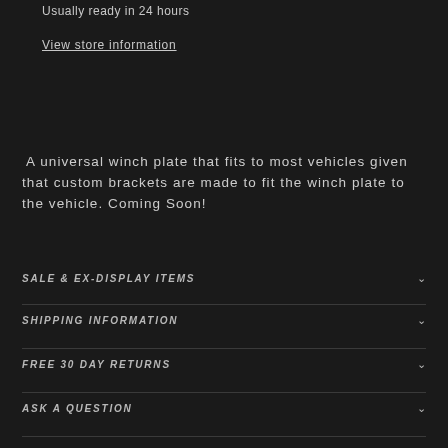Usually ready in 24 hours
View store information
A universal winch plate that fits to most vehicles given that custom brackets are made to fit the winch plate to the vehicle. Coming Soon!
SALE & EX-DISPLAY ITEMS
SHIPPING INFORMATION
FREE 30 DAY RETURNS
ASK A QUESTION